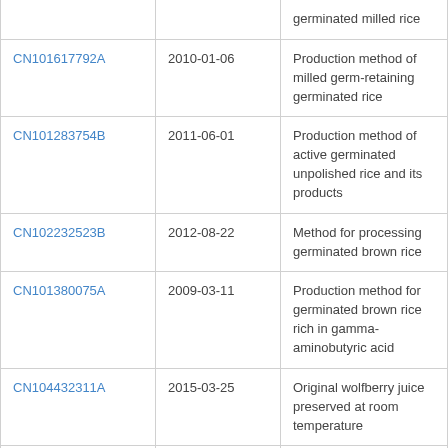| Patent ID | Date | Description |
| --- | --- | --- |
|  |  | germinated milled rice |
| CN101617792A | 2010-01-06 | Production method of milled germ-retaining germinated rice |
| CN101283754B | 2011-06-01 | Production method of active germinated unpolished rice and its products |
| CN102232523B | 2012-08-22 | Method for processing germinated brown rice |
| CN101380075A | 2009-03-11 | Production method for germinated brown rice rich in gamma-aminobutyric acid |
| CN104432311A | 2015-03-25 | Original wolfberry juice preserved at room temperature |
| CN103844208B | 2015-05-13 | Method for improving sprouted rice quality and efficiency by utilizing ozone and microwave vacuum technique |